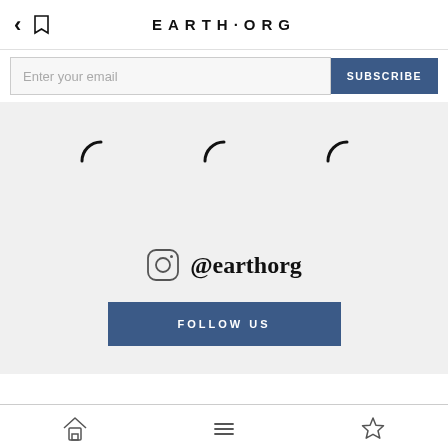EARTH·ORG
Enter your email | SUBSCRIBE
[Figure (other): Three loading spinner arcs displayed in a light grey area]
[Figure (other): Instagram icon with @earthorg handle and FOLLOW US button]
Home | Menu | Bookmark navigation icons